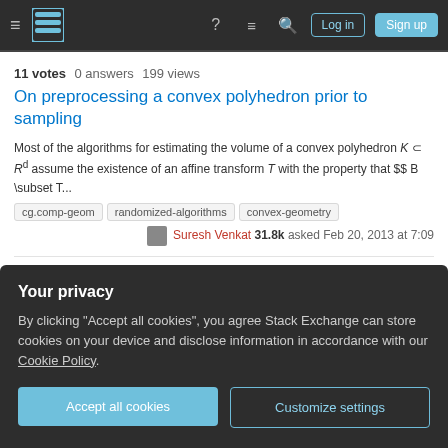Stack Exchange navigation bar with hamburger menu, logo, help, chat, search icons, Log in and Sign up buttons
11 votes  0 answers  199 views
On preprocessing a convex polyhedron prior to sampling
Most of the algorithms for estimating the volume of a convex polyhedron K ⊂ R^d assume the existence of an affine transform T with the property that $$ B \subset T...
cg.comp-geom
randomized-algorithms
convex-geometry
Suresh Venkat 31.8k asked Feb 20, 2013 at 7:09
10 votes  1 answer  343 views
Algorithm to compute distance between powers
Given coprime a, b, can you quickly compute
Your privacy
By clicking "Accept all cookies", you agree Stack Exchange can store cookies on your device and disclose information in accordance with our Cookie Policy.
Accept all cookies
Customize settings